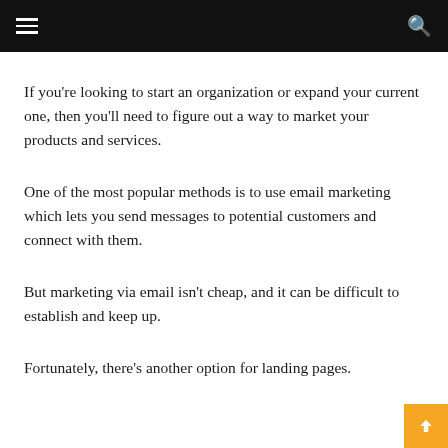≡  🔍
If you're looking to start an organization or expand your current one, then you'll need to figure out a way to market your products and services.
One of the most popular methods is to use email marketing which lets you send messages to potential customers and connect with them.
But marketing via email isn't cheap, and it can be difficult to establish and keep up.
Fortunately, there's another option for landing pages.